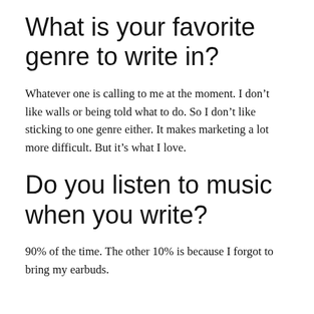What is your favorite genre to write in?
Whatever one is calling to me at the moment. I don’t like walls or being told what to do. So I don’t like sticking to one genre either. It makes marketing a lot more difficult. But it’s what I love.
Do you listen to music when you write?
90% of the time. The other 10% is because I forgot to bring my earbuds.